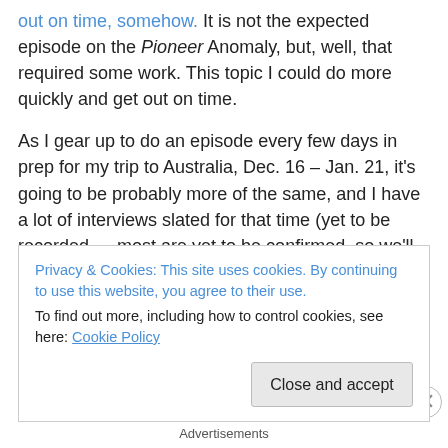out on time, somehow. It is not the expected episode on the Pioneer Anomaly, but, well, that required some work. This topic I could do more quickly and get out on time.
As I gear up to do an episode every few days in prep for my trip to Australia, Dec. 16 – Jan. 21, it's going to be probably more of the same, and I have a lot of interviews slated for that time (yet to be recorded … most are yet to be confirmed, so we'll see). I'm trying to figure out how to make an episode about the peer review process and an episode about uncertainties and errors sound interesting,
Privacy & Cookies: This site uses cookies. By continuing to use this website, you agree to their use.
To find out more, including how to control cookies, see here: Cookie Policy
Close and accept
Advertisements